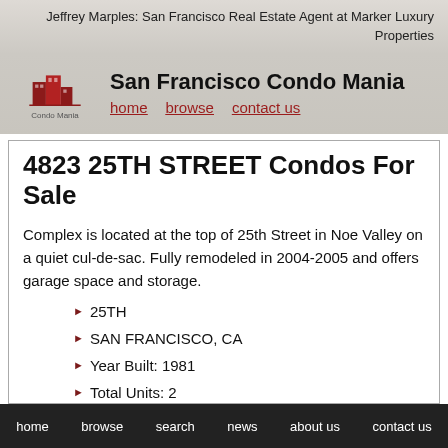Jeffrey Marples: San Francisco Real Estate Agent at Marker Luxury Properties
San Francisco Condo Mania
home   browse   contact us
4823 25TH STREET Condos For Sale
Complex is located at the top of 25th Street in Noe Valley on a quiet cul-de-sac. Fully remodeled in 2004-2005 and offers garage space and storage.
25TH
SAN FRANCISCO, CA
Year Built: 1981
Total Units: 2
home   browse   search   news   about us   contact us